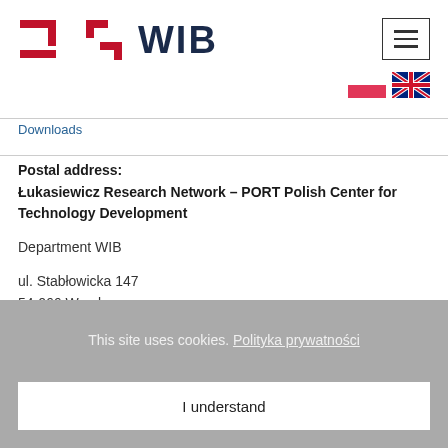[Figure (logo): WIB logo with red step-bracket icon and dark blue WIB text]
[Figure (other): Hamburger menu button (three horizontal lines in a bordered box)]
[Figure (other): Polish flag and UK flag icons for language selection]
Downloads
Postal address:
Łukasiewicz Research Network – PORT Polish Center for Technology Development
Department WIB
ul. Stabłowicka 147
54-066 Wrocław
POLAND
This site uses cookies. Polityka prywatności
I understand